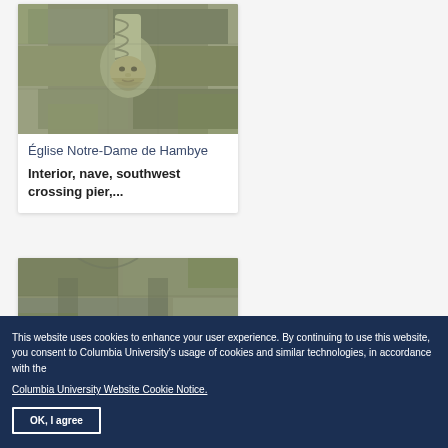[Figure (photo): Stone gargoyle or sculptural face carved into a pier, part of the interior of Église Notre-Dame de Hambye, showing weathered stone detail.]
Église Notre-Dame de Hambye
Interior, nave, southwest crossing pier,...
[Figure (photo): Partial view of stone architectural detail, second card image cropped.]
This website uses cookies to enhance your user experience. By continuing to use this website, you consent to Columbia University's usage of cookies and similar technologies, in accordance with the
Columbia University Website Cookie Notice.
OK, I agree